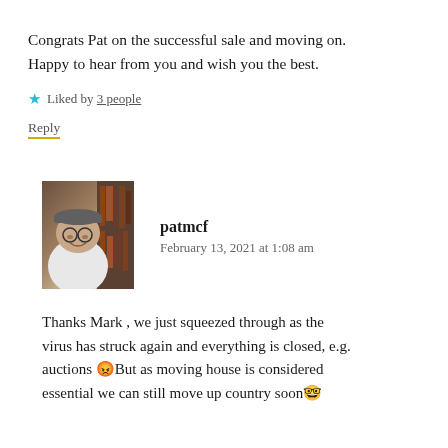Congrats Pat on the successful sale and moving on. Happy to hear from you and wish you the best.
★ Liked by 3 people
Reply
patmcf
February 13, 2021 at 1:08 am
[Figure (photo): Avatar photo of a person wearing glasses and a cap, sitting indoors]
Thanks Mark , we just squeezed through as the virus has struck again and everything is closed, e.g. auctions 😡But as moving house is considered essential we can still move up country soon 🤓